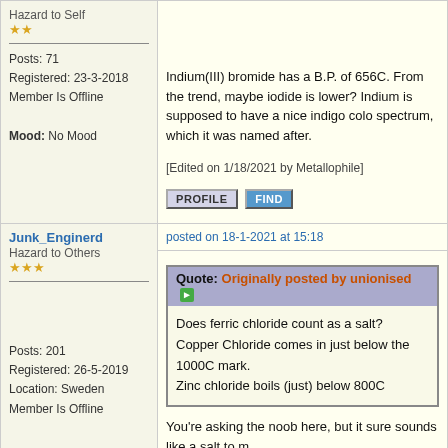Hazard to Self
★★
Posts: 71
Registered: 23-3-2018
Member Is Offline
Mood: No Mood
Indium(III) bromide has a B.P. of 656C. From the trend, maybe iodide is lower? Indium is supposed to have a nice indigo color spectrum, which it was named after.
[Edited on 1/18/2021 by Metallophile]
posted on 18-1-2021 at 15:18
Junk_Enginerd
Hazard to Others
★★★
Posts: 201
Registered: 26-5-2019
Location: Sweden
Member Is Offline
Quote: Originally posted by unionised
Does ferric chloride count as a salt?
Copper Chloride comes in just below the 1000C mark.
Zinc chloride boils (just) below 800C
You're asking the noob here, but it sure sounds like a salt to m
Way too high, I'd expect. I'm hoping for at most 200°C.